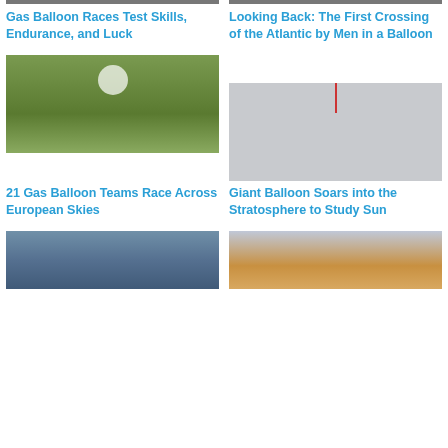[Figure (photo): Partial top image - balloon race scene (cropped at top)]
[Figure (photo): Partial top image - Atlantic crossing historical image (cropped at top)]
Gas Balloon Races Test Skills, Endurance, and Luck
Looking Back: The First Crossing of the Atlantic by Men in a Balloon
[Figure (photo): People in yellow vests and shirts handling gas balloons on green field]
[Figure (photo): Giant balloon soaring in pale sky, tiny against gray-white sky]
21 Gas Balloon Teams Race Across European Skies
Giant Balloon Soars into the Stratosphere to Study Sun
[Figure (photo): Weather balloon being launched in cloudy sky]
[Figure (photo): Aerial view with balloon over landscape, text partially visible]